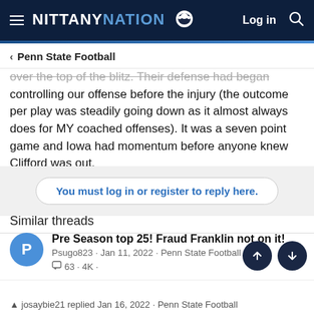NITTANY NATION — Log in
< Penn State Football
over the top of the blitz. Their defense had began controlling our offense before the injury (the outcome per play was steadily going down as it almost always does for MY coached offenses). It was a seven point game and Iowa had momentum before anyone knew Clifford was out.
You must log in or register to reply here.
Similar threads
Pre Season top 25! Fraud Franklin not on it!
Psugo823 · Jan 11, 2022 · Penn State Football
💬 63 · 4K ·
josaybie21 replied Jan 16, 2022 · Penn State Football